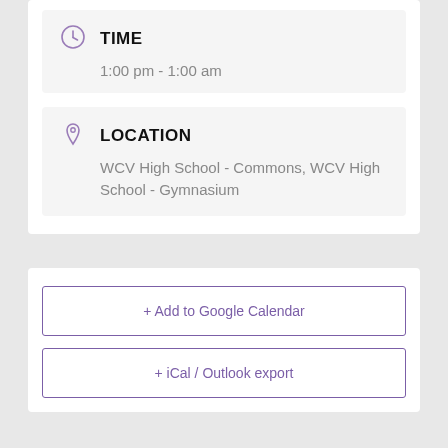TIME
1:00 pm - 1:00 am
LOCATION
WCV High School - Commons, WCV High School - Gymnasium
+ Add to Google Calendar
+ iCal / Outlook export